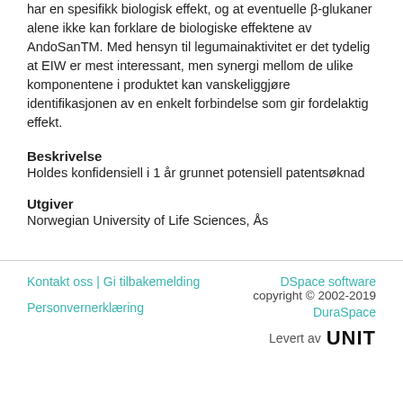har en spesifikk biologisk effekt, og at eventuelle β-glukaner alene ikke kan forklare de biologiske effektene av AndoSanTM. Med hensyn til legumainaktivitet er det tydelig at EIW er mest interessant, men synergi mellom de ulike komponentene i produktet kan vanskeliggjøre identifikasjonen av en enkelt forbindelse som gir fordelaktig effekt.
Beskrivelse
Holdes konfidensiell i 1 år grunnet potensiell patentsøknad
Utgiver
Norwegian University of Life Sciences, Ås
Kontakt oss | Gi tilbakemelding | DSpace software copyright © 2002-2019 DuraSpace | Personvernerklæring | Levert av UNIT